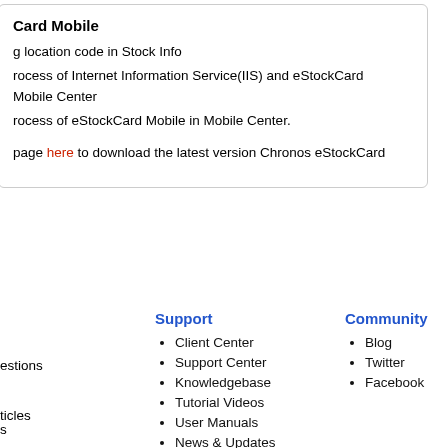Card Mobile
g location code in Stock Info
rocess of Internet Information Service(IIS) and eStockCard Mobile Center
rocess of eStockCard Mobile in Mobile Center.
page here to download the latest version Chronos eStockCard
Support
Client Center
Support Center
Knowledgebase
Tutorial Videos
User Manuals
News & Updates
Community
Blog
Twitter
Facebook
s
estions
ticles